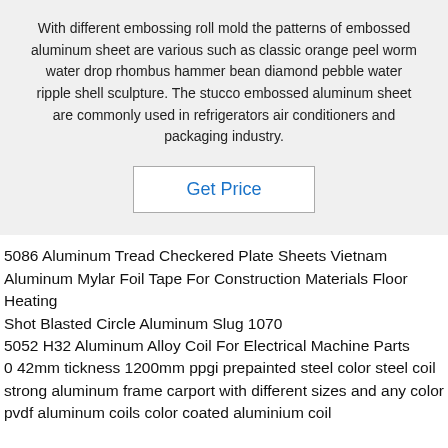With different embossing roll mold the patterns of embossed aluminum sheet are various such as classic orange peel worm water drop rhombus hammer bean diamond pebble water ripple shell sculpture. The stucco embossed aluminum sheet are commonly used in refrigerators air conditioners and packaging industry.
Get Price
5086 Aluminum Tread Checkered Plate Sheets Vietnam
Aluminum Mylar Foil Tape For Construction Materials Floor Heating
Shot Blasted Circle Aluminum Slug 1070
5052 H32 Aluminum Alloy Coil For Electrical Machine Parts
0 42mm tickness 1200mm ppgi prepainted steel color steel coil
strong aluminum frame carport with different sizes and any color
pvdf aluminum coils color coated aluminium coil